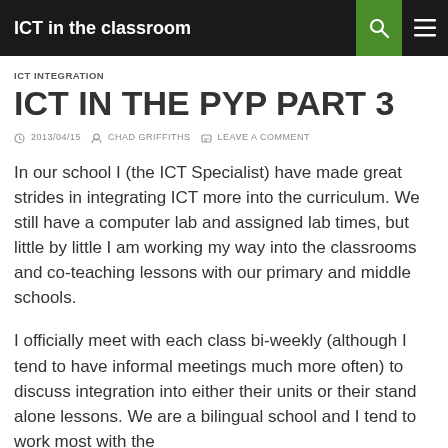ICT in the classroom
ICT INTEGRATION
ICT IN THE PYP PART 3
2013/04/15   CHAD GRIFFITHS   LEAVE A COMMENT
In our school I (the ICT Specialist) have made great strides in integrating ICT more into the curriculum. We still have a computer lab and assigned lab times, but little by little I am working my way into the classrooms and co-teaching lessons with our primary and middle schools.
I officially meet with each class bi-weekly (although I tend to have informal meetings much more often) to discuss integration into either their units or their stand alone lessons. We are a bilingual school and I tend to work most with the